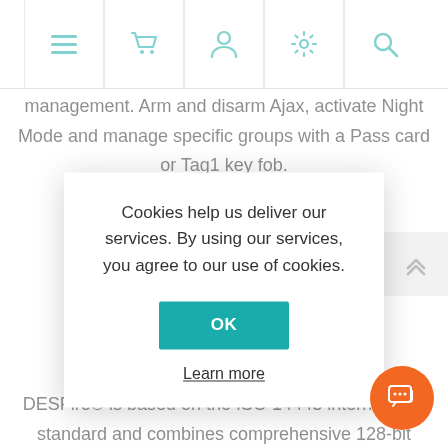Navigation bar with menu, cart, user, settings, and search icons
management. Arm and disarm Ajax, activate Night Mode and manage specific groups with a Pass card or Tag1 key fob.
Ke... nd
Cookies help us deliver our services. By using our services, you agree to our use of cookies.
OK
Learn more
key fob.
DESFire® is based on the ISO 14443 international standard and combines comprehensive 128-bit